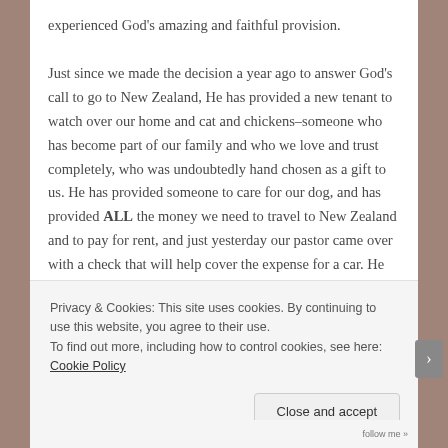experienced God's amazing and faithful provision.
Just since we made the decision a year ago to answer God's call to go to New Zealand, He has provided a new tenant to watch over our home and cat and chickens–someone who has become part of our family and who we love and trust completely, who was undoubtedly hand chosen as a gift to us. He has provided someone to care for our dog, and has provided ALL the money we need to travel to New Zealand and to pay for rent, and just yesterday our pastor came over with a check that will help cover the expense for a car. He has
Privacy & Cookies: This site uses cookies. By continuing to use this website, you agree to their use.
To find out more, including how to control cookies, see here: Cookie Policy
Close and accept